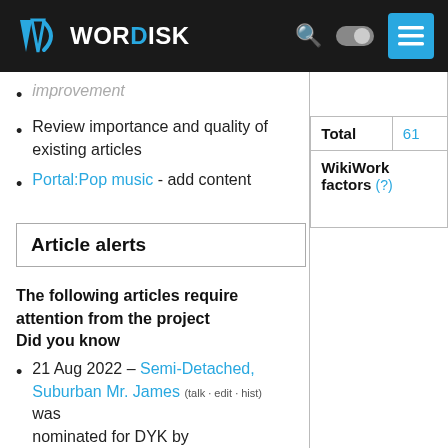WORDISK
improvement
Review importance and quality of existing articles
Portal:Pop music - add content
| Total | 61 |
| WikiWork factors (?) |  |
Article alerts
The following articles require attention from the project Did you know
21 Aug 2022 – Semi-Detached, Suburban Mr. James (talk · edit · hist) was nominated for DYK by